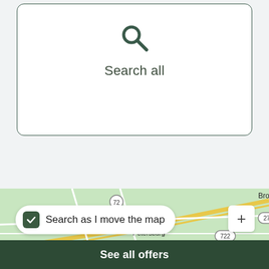[Figure (screenshot): A white rounded card with a search icon and 'Search all' label]
Search all
[Figure (map): Google Maps view showing East Petersburg, Salunga-Landisville, Brownstown, Leacock area with roads 72, 722, 272 visible. A checkbox pill reads 'Search as I move the map' and a plus button is shown.]
Search as I move the map
See all offers